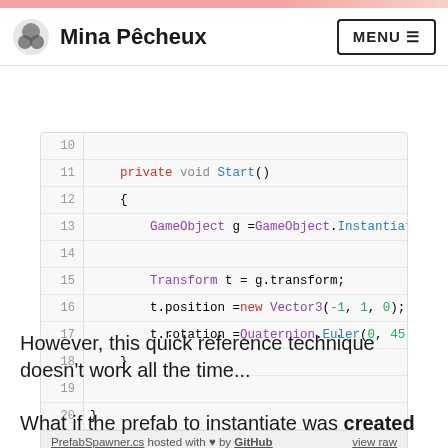Mina Pêcheux — MENU
[Figure (screenshot): Code snippet showing C# Unity script lines 10-20 with PrefabSpawner.cs footer]
However, this quick reference technique doesn't work all the time...
What if the prefab to instantiate was created